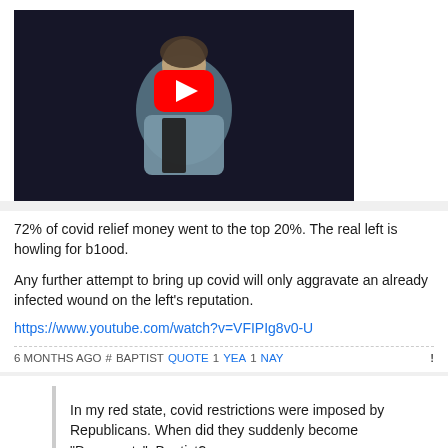[Figure (screenshot): YouTube video thumbnail showing a woman in a grey blazer with the YouTube play button overlay, dark background]
72% of covid relief money went to the top 20%. The real left is howling for b1ood.
Any further attempt to bring up covid will only aggravate an already infected wound on the left's reputation.
https://www.youtube.com/watch?v=VFIPIg8v0-U
6 MONTHS AGO # BAPTIST QUOTE 1 YEA 1 NAY !
In my red state, covid restrictions were imposed by Republicans. When did they suddenly become "Democrats", Baptist?

DeSantis apolgoized.
You could've walked away from covid heroes 6 months ago. Instead you goaded your opponents until the public rose up in revolt! Now you're going down in history as fas cists. lol
I don't live in Florida, Baptist.
6 MONTHS AGO # CHANTE QUOTE 1 YEA 3 NAY